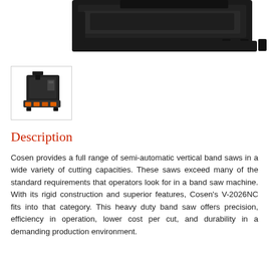[Figure (photo): Top portion of a large industrial horizontal/vertical band saw machine, shown in dark gray/black, with mechanical components visible at the top of the page.]
[Figure (photo): Thumbnail image of the Cosen V-2026NC vertical band saw machine, showing the full unit with orange/yellow highlights on the base, inside a bordered thumbnail box.]
Description
Cosen provides a full range of semi-automatic vertical band saws in a wide variety of cutting capacities. These saws exceed many of the standard requirements that operators look for in a band saw machine. With its rigid construction and superior features, Cosen's V-2026NC fits into that category. This heavy duty band saw offers precision, efficiency in operation, lower cost per cut, and durability in a demanding production environment.